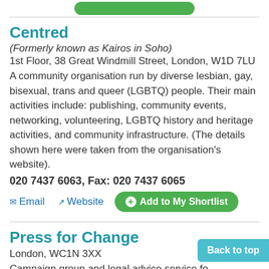Centred
(Formerly known as Kairos in Soho)
1st Floor, 38 Great Windmill Street, London, W1D 7LU
A community organisation run by diverse lesbian, gay, bisexual, trans and queer (LGBTQ) people. Their main activities include: publishing, community events, networking, volunteering, LGBTQ history and heritage activities, and community infrastructure. (The details shown here were taken from the organisation's website).
020 7437 6063, Fax: 020 7437 6065
Press for Change
London, WC1N 3XX
Campaign group and legal advice service fo...